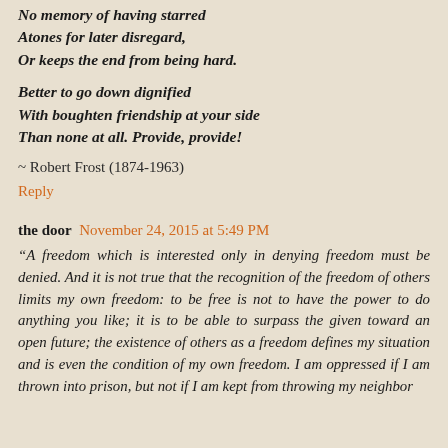No memory of having starred
Atones for later disregard,
Or keeps the end from being hard.
Better to go down dignified
With boughten friendship at your side
Than none at all. Provide, provide!
~ Robert Frost (1874-1963)
Reply
the door  November 24, 2015 at 5:49 PM
“A freedom which is interested only in denying freedom must be denied. And it is not true that the recognition of the freedom of others limits my own freedom: to be free is not to have the power to do anything you like; it is to be able to surpass the given toward an open future; the existence of others as a freedom defines my situation and is even the condition of my own freedom. I am oppressed if I am thrown into prison, but not if I am kept from throwing my neighbor